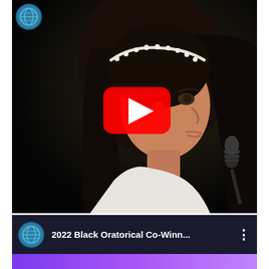[Figure (screenshot): YouTube video thumbnail showing a young girl with long dark hair and a pearl headband speaking or singing at a microphone against a dark background, with a YouTube play button overlay. A channel logo (North something network) appears in the top left corner.]
2022 Black Oratorical Co-Winn...